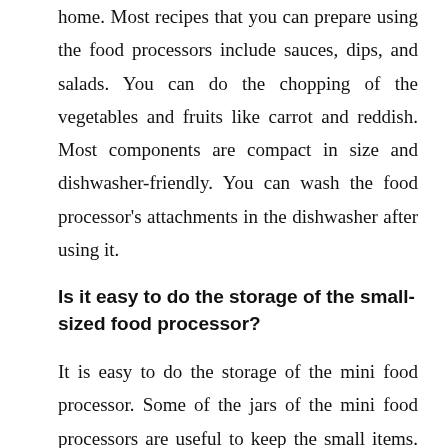home. Most recipes that you can prepare using the food processors include sauces, dips, and salads. You can do the chopping of the vegetables and fruits like carrot and reddish. Most components are compact in size and dishwasher-friendly. You can wash the food processor's attachments in the dishwasher after using it.
Is it easy to do the storage of the small-sized food processor?
It is easy to do the storage of the mini food processor. Some of the jars of the mini food processors are useful to keep the small items. Some models of food processors come with storage jars. Therefore, people like to purchase small-sized food processors for their household